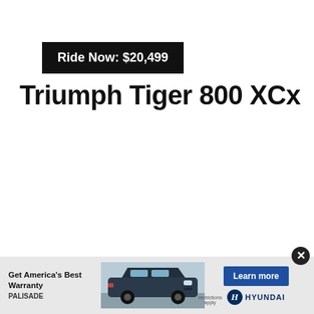Ride Now: $20,499
Triumph Tiger 800 XCx
[Figure (infographic): Hyundai Palisade advertisement banner at the bottom of the page with text 'Get America's Best Warranty', 'PALISADE', a photo of the Palisade SUV, a 'Learn more' button, and the Hyundai logo. A close (X) button is in the upper right corner of the banner.]